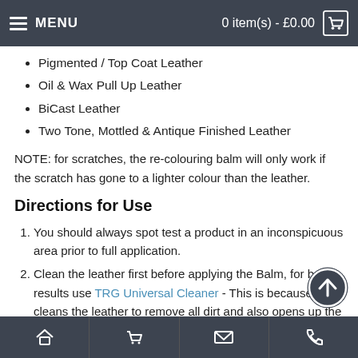MENU  0 item(s) - £0.00
Pigmented / Top Coat Leather
Oil & Wax Pull Up Leather
BiCast Leather
Two Tone, Mottled & Antique Finished Leather
NOTE: for scratches, the re-colouring balm will only work if the scratch has gone to a lighter colour than the leather.
Directions for Use
You should always spot test a product in an inconspicuous area prior to full application.
Clean the leather first before applying the Balm, for best results use TRG Universal Cleaner - This is because it cleans the leather to remove all dirt and also opens up the pores of the leather so the Re-Colouring Balm will take to the leather in a better fashion.
Rub the Balm into the leather in a circular motion to ensure penetration. This is enough to completely restore the colour. Take a clean cloth and then buff the surface of
Home  Cart  Mail  Phone